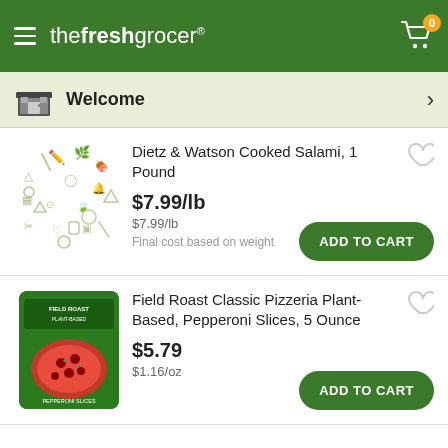thefreshgrocer
Welcome
Dietz & Watson Cooked Salami, 1 Pound
$7.99/lb
$7.99/lb
Final cost based on weight
Field Roast Classic Pizzeria Plant-Based, Pepperoni Slices, 5 Ounce
$5.79
$1.16/oz